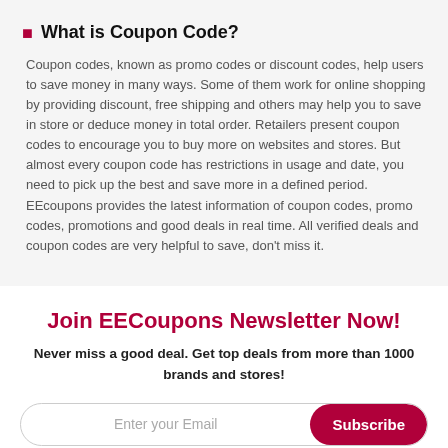What is Coupon Code?
Coupon codes, known as promo codes or discount codes, help users to save money in many ways. Some of them work for online shopping by providing discount, free shipping and others may help you to save in store or deduce money in total order. Retailers present coupon codes to encourage you to buy more on websites and stores. But almost every coupon code has restrictions in usage and date, you need to pick up the best and save more in a defined period. EEcoupons provides the latest information of coupon codes, promo codes, promotions and good deals in real time. All verified deals and coupon codes are very helpful to save, don't miss it.
Join EECoupons Newsletter Now!
Never miss a good deal. Get top deals from more than 1000 brands and stores!
Enter your Email
Subscribe
We will not share your email in any cases.